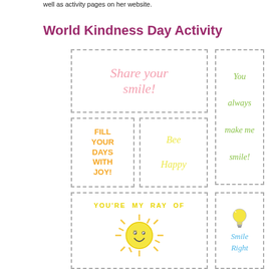well as activity pages on her website.
World Kindness Day Activity
[Figure (illustration): Card with text 'Share your smile!' in pink italic font, dashed border]
[Figure (illustration): Tall card with text 'You always make me smile!' in green italic font, dashed border]
[Figure (illustration): Card with text 'FILL YOUR DAYS WITH JOY!' in orange bold font, dashed border]
[Figure (illustration): Card with 'Bee Happy' in yellow italic font and bee illustration, dashed border]
[Figure (illustration): Card with 'YOU'RE MY RAY OF' in yellow bold text and smiling sun illustration, dashed border]
[Figure (illustration): Card with lightbulb icon and 'Smile Right' in blue italic font, dashed border]